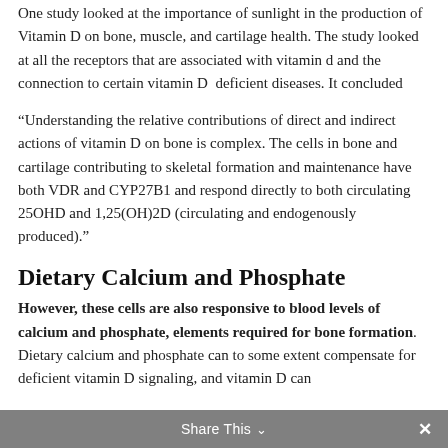One study looked at the importance of sunlight in the production of Vitamin D on bone, muscle, and cartilage health. The study looked at all the receptors that are associated with vitamin d and the connection to certain vitamin D  deficient diseases. It concluded
“Understanding the relative contributions of direct and indirect actions of vitamin D on bone is complex. The cells in bone and cartilage contributing to skeletal formation and maintenance have both VDR and CYP27B1 and respond directly to both circulating 25OHD and 1,25(OH)2D (circulating and endogenously produced).”
Dietary Calcium and Phosphate
However, these cells are also responsive to blood levels of calcium and phosphate, elements required for bone formation. Dietary calcium and phosphate can to some extent compensate for deficient vitamin D signaling, and vitamin D can